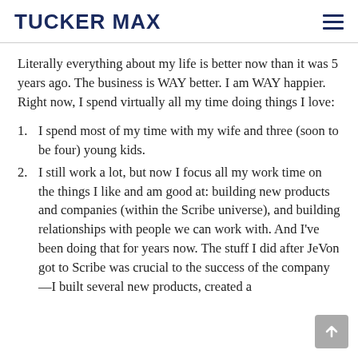TUCKER MAX
Literally everything about my life is better now than it was 5 years ago. The business is WAY better. I am WAY happier. Right now, I spend virtually all my time doing things I love:
I spend most of my time with my wife and three (soon to be four) young kids.
I still work a lot, but now I focus all my work time on the things I like and am good at: building new products and companies (within the Scribe universe), and building relationships with people we can work with. And I've been doing that for years now. The stuff I did after JeVon got to Scribe was crucial to the success of the company—I built several new products, created a